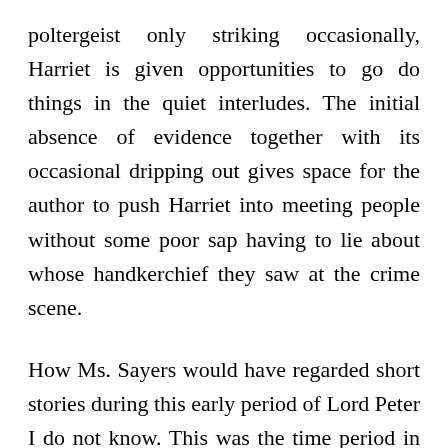poltergeist only striking occasionally, Harriet is given opportunities to go do things in the quiet interludes. The initial absence of evidence together with its occasional dripping out gives space for the author to push Harriet into meeting people without some poor sap having to lie about whose handkerchief they saw at the crime scene.

How Ms. Sayers would have regarded short stories during this early period of Lord Peter I do not know. This was the time period in which short stories were where the real money was in fiction, for most authors at least, and so she would have had ample motivation to just make the stories work in order to meet deadlines. It was only after